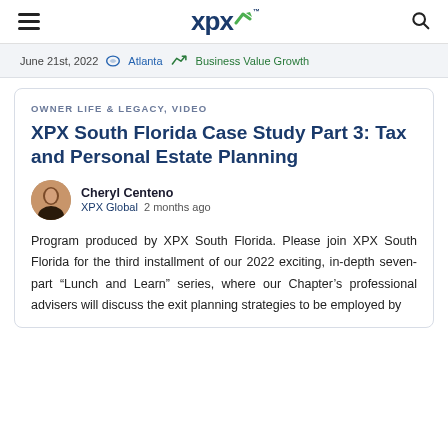XPX | Navigation bar with hamburger menu, XPX logo, and search icon
June 21st, 2022  Atlanta  Business Value Growth
OWNER LIFE & LEGACY, VIDEO
XPX South Florida Case Study Part 3: Tax and Personal Estate Planning
Cheryl Centeno
XPX Global  2 months ago
Program produced by XPX South Florida. Please join XPX South Florida for the third installment of our 2022 exciting, in-depth seven-part “Lunch and Learn” series, where our Chapter’s professional advisers will discuss the exit planning strategies to be employed by